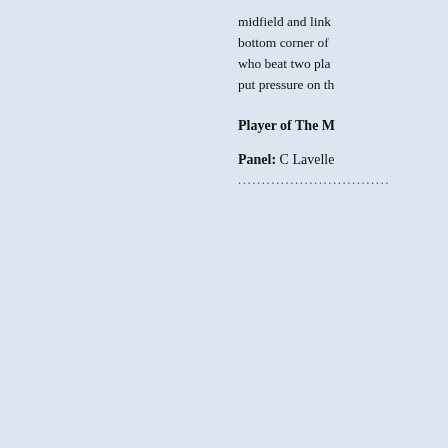midfield and link bottom corner of who beat two pla put pressure on th
Player of The M
Panel: C Lavelle
................................